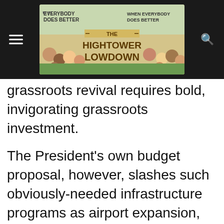The Hightower Lowdown — Everybody Does Better When Everybody Does Better
grassroots revival requires bold, invigorating grassroots investment.
The President's own budget proposal, however, slashes such obviously-needed infrastructure programs as airport expansion, water treatment improvements, and environmental restoration. The no-can-do, visionless Republican leadership is willing to let the future of America and our